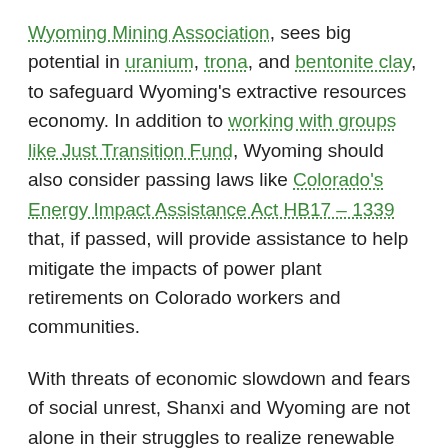Wyoming Mining Association, sees big potential in uranium, trona, and bentonite clay, to safeguard Wyoming's extractive resources economy. In addition to working with groups like Just Transition Fund, Wyoming should also consider passing laws like Colorado's Energy Impact Assistance Act HB17 – 1339 that, if passed, will provide assistance to help mitigate the impacts of power plant retirements on Colorado workers and communities.
With threats of economic slowdown and fears of social unrest, Shanxi and Wyoming are not alone in their struggles to realize renewable energy potential while protecting the security of coal industry employees. While painful, these transitions are inevitable. Policymakers and industry leaders in the United States and abroad must effectively integrate economic development, climate change science, and human security to ensure that green